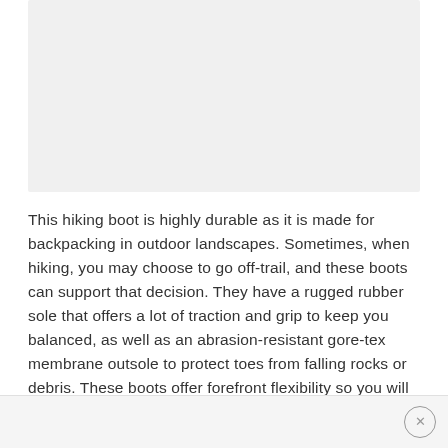[Figure (photo): Light gray rectangular placeholder image area for a hiking boot product photo]
This hiking boot is highly durable as it is made for backpacking in outdoor landscapes. Sometimes, when hiking, you may choose to go off-trail, and these boots can support that decision. They have a rugged rubber sole that offers a lot of traction and grip to keep you balanced, as well as an abrasion-resistant gore-tex membrane outsole to protect toes from falling rocks or debris. These boots offer forefront flexibility so you will feel secure and safe when wearing them, as well as being able to have a natural balance.